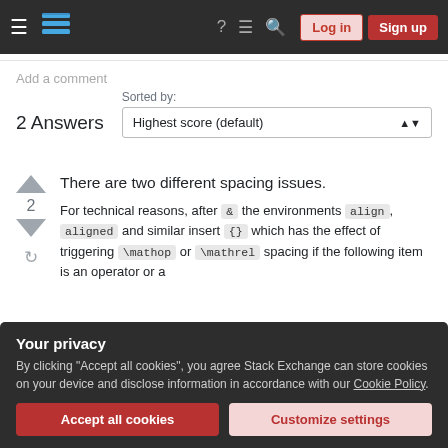Stack Exchange navigation bar with Log in and Sign up buttons
Add a comment
2 Answers
Sorted by: Highest score (default)
There are two different spacing issues.
For technical reasons, after & the environments align, aligned and similar insert {} which has the effect of triggering \mathop or \mathrel spacing if the following item is an operator or a
Your privacy
By clicking "Accept all cookies", you agree Stack Exchange can store cookies on your device and disclose information in accordance with our Cookie Policy.
Accept all cookies  Customize settings